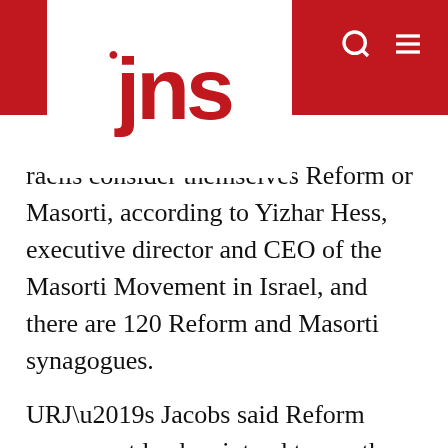jns
raelis consider themselves Reform or Masorti, according to Yizhar Hess, executive director and CEO of the Masorti Movement in Israel, and there are 120 Reform and Masorti synagogues.
URJ’s Jacobs said Reform movement leaders intend to use the Kotel plan as “an opportunity to go farther and in so doing really do holy work.”
“Similar coalitions could work together again and use this agreement to open the floodgates